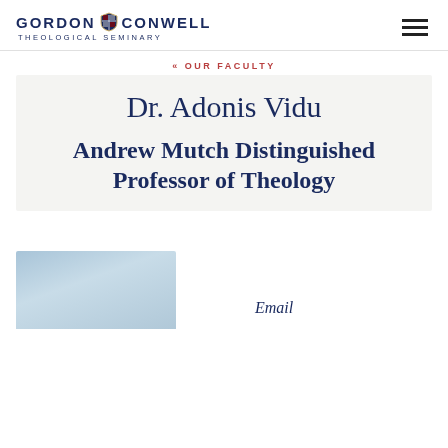GORDON CONWELL THEOLOGICAL SEMINARY
« OUR FACULTY
Dr. Adonis Vidu
Andrew Mutch Distinguished Professor of Theology
[Figure (photo): Partial photo of Dr. Adonis Vidu at bottom left, cropped]
Email